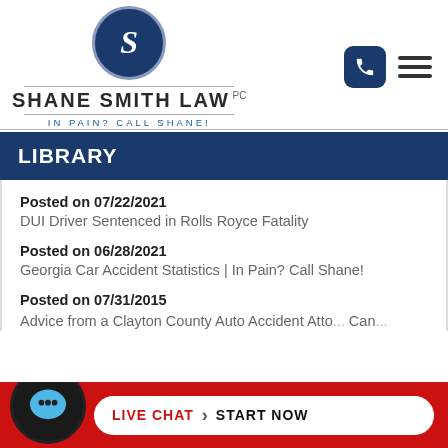[Figure (logo): Shane Smith Law PC logo with circular emblem containing stylized S, firm name, and tagline IN PAIN? CALL SHANE!]
LIBRARY
Posted on 07/22/2021
DUI Driver Sentenced in Rolls Royce Fatality
Posted on 06/28/2021
Georgia Car Accident Statistics | In Pain? Call Shane!
Posted on 07/31/2015
Advice from a Clayton County Auto Accident Atto... Can...
[Figure (screenshot): Live Chat - Start Now button bar at bottom of page with red background and chat icon]